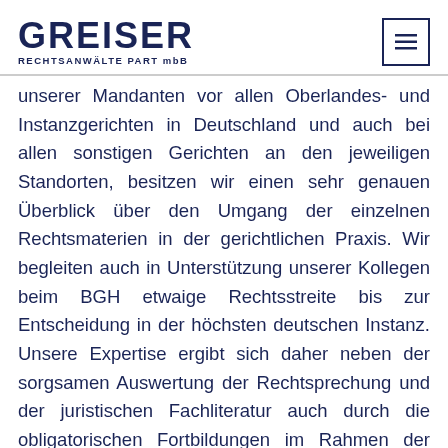GREISER RECHTSANWÄLTE PART mbB
unserer Mandanten vor allen Oberlandes- und Instanzgerichten in Deutschland und auch bei allen sonstigen Gerichten an den jeweiligen Standorten, besitzen wir einen sehr genauen Überblick über den Umgang der einzelnen Rechtsmaterien in der gerichtlichen Praxis. Wir begleiten auch in Unterstützung unserer Kollegen beim BGH etwaige Rechtsstreite bis zur Entscheidung in der höchsten deutschen Instanz. Unsere Expertise ergibt sich daher neben der sorgsamen Auswertung der Rechtsprechung und der juristischen Fachliteratur auch durch die obligatorischen Fortbildungen im Rahmen der erworbenen